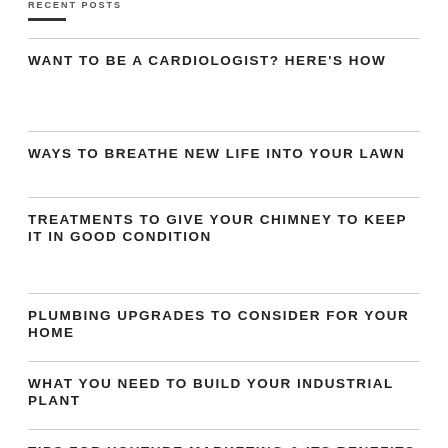RECENT POSTS
WANT TO BE A CARDIOLOGIST? HERE'S HOW
WAYS TO BREATHE NEW LIFE INTO YOUR LAWN
TREATMENTS TO GIVE YOUR CHIMNEY TO KEEP IT IN GOOD CONDITION
PLUMBING UPGRADES TO CONSIDER FOR YOUR HOME
WHAT YOU NEED TO BUILD YOUR INDUSTRIAL PLANT
TIPS FOR YOUTUBE MARKETING & ITS BENEFITS